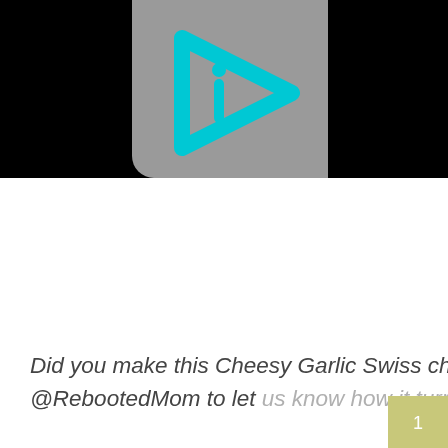[Figure (logo): Gray rounded rectangle logo with a cyan/turquoise play-button arrow and lowercase letter 'i' inside, on black background]
Did you make this Cheesy Garlic Swiss chard? Make sure you tag us on Facebook @RebootedMom to let us know how it turned out!